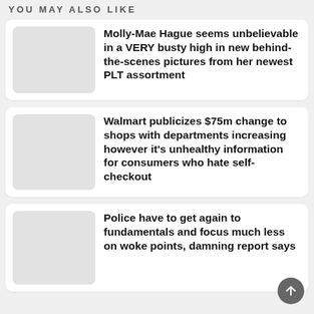YOU MAY ALSO LIKE
Molly-Mae Hague seems unbelievable in a VERY busty high in new behind-the-scenes pictures from her newest PLT assortment
Walmart publicizes $75m change to shops with departments increasing however it's unhealthy information for consumers who hate self-checkout
Police have to get again to fundamentals and focus much less on woke points, damning report says